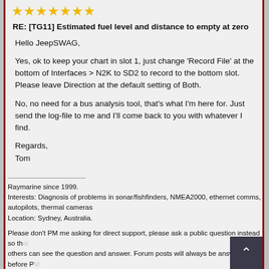[Figure (other): Seven gold star rating icons in a row]
RE: [TG11] Estimated fuel level and distance to empty at zero
Hello JeepSWAG,
Yes, ok to keep your chart in slot 1, just change 'Record File' at the bottom of Interfaces > N2K to SD2 to record to the bottom slot. Please leave Direction at the default setting of Both.
No, no need for a bus analysis tool, that's what I'm here for. Just send the log-file to me and I'll come back to you with whatever I find.
Regards,
Tom
Raymarine since 1999.
Interests: Diagnosis of problems in sonar/fishfinders, NMEA2000, ethernet comms, autopilots, thermal cameras
Location: Sydney, Australia.
Please don't PM me asking for direct support, please ask a public question instead so that others can see the question and answer. Forum posts will always be answered before PM requests.